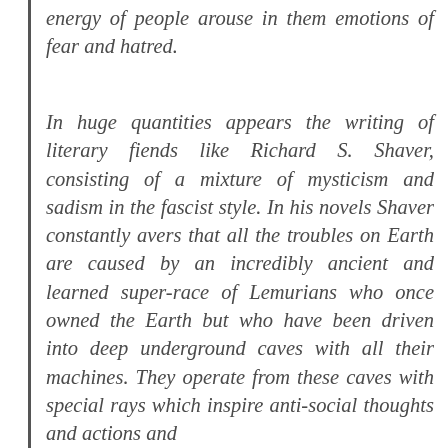energy of people arouse in them emotions of fear and hatred.
In huge quantities appears the writing of literary fiends like Richard S. Shaver, consisting of a mixture of mysticism and sadism in the fascist style. In his novels Shaver constantly avers that all the troubles on Earth are caused by an incredibly ancient and learned super-race of Lemurians who once owned the Earth but who have been driven into deep underground caves with all their machines. They operate from these caves with special rays which inspire anti-social thoughts and actions and